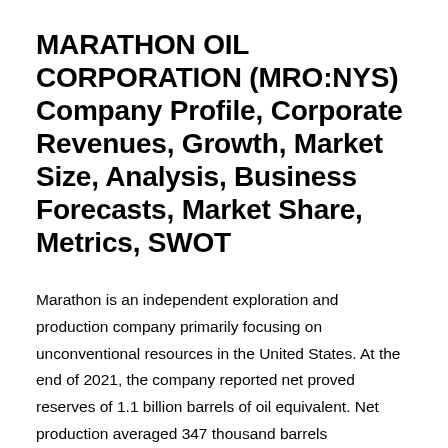MARATHON OIL CORPORATION (MRO:NYS) Company Profile, Corporate Revenues, Growth, Market Size, Analysis, Business Forecasts, Market Share, Metrics, SWOT
Marathon is an independent exploration and production company primarily focusing on unconventional resources in the United States. At the end of 2021, the company reported net proved reserves of 1.1 billion barrels of oil equivalent. Net production averaged 347 thousand barrels